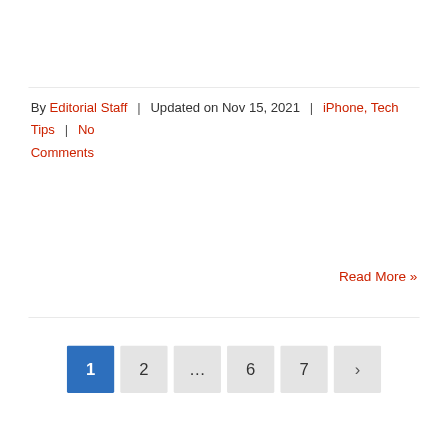By Editorial Staff | Updated on Nov 15, 2021 | iPhone, Tech Tips | No Comments
Read More »
1 2 … 6 7 ›